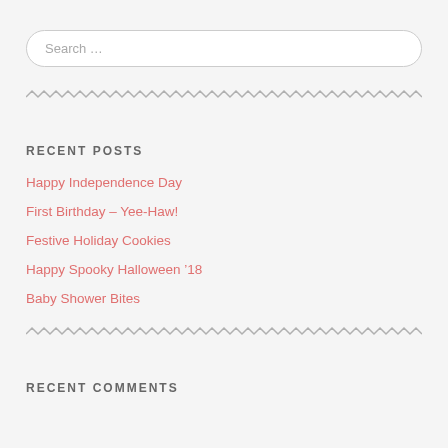Search …
RECENT POSTS
Happy Independence Day
First Birthday – Yee-Haw!
Festive Holiday Cookies
Happy Spooky Halloween '18
Baby Shower Bites
RECENT COMMENTS